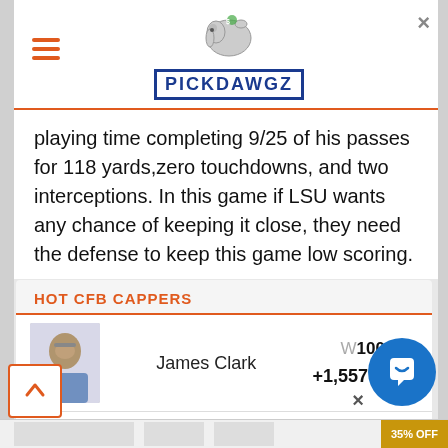PICKDAWGZ
playing time completing 9/25 of his passes for 118 yards,zero touchdowns, and two interceptions. In this game if LSU wants any chance of keeping it close, they need the defense to keep this game low scoring.
HOT CFB CAPPERS
| Photo | Name | Record | Units |
| --- | --- | --- | --- |
| [photo] | James Clark | W100/L78 | +1,557 Units |
| [photo] | Matt Fargo | W55x | +1,43x Units |